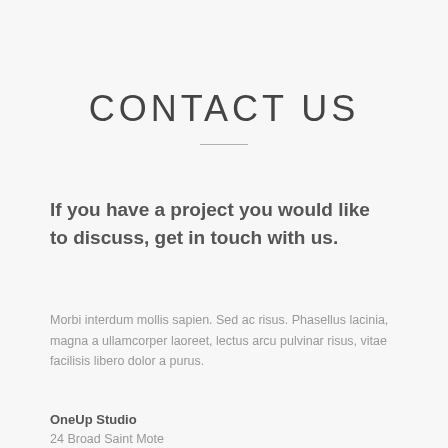CONTACT US
If you have a project you would like to discuss, get in touch with us.
Morbi interdum mollis sapien. Sed ac risus. Phasellus lacinia, magna a ullamcorper laoreet, lectus arcu pulvinar risus, vitae facilisis libero dolor a purus.
OneUp Studio
24 Broad Saint Mote